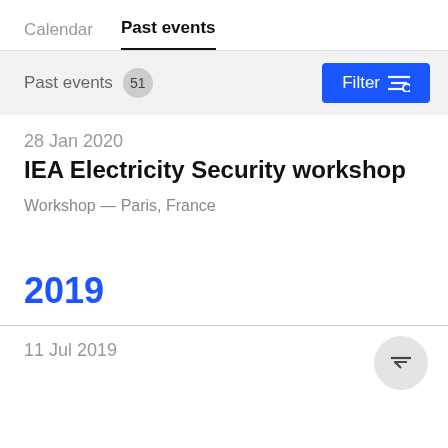Calendar   Past events
Past events  51
28 Jan 2020
IEA Electricity Security workshop
Workshop — Paris, France
2019
11 Jul 2019